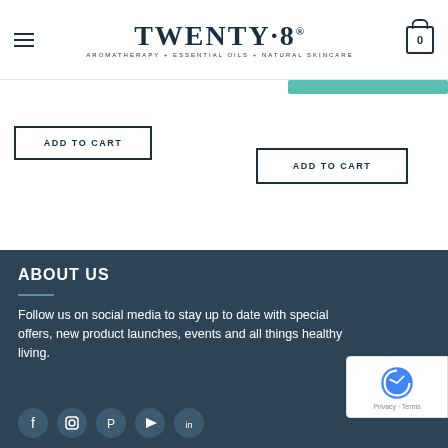TWENTY·8 — AROMATHERAPY + ESSENTIAL OILS + NATURAL SKINCARE
ADD TO CART
ADD TO CART
ABOUT US
Follow us on social media to stay up to date with special offers, new product launches, events and all things healthy living.